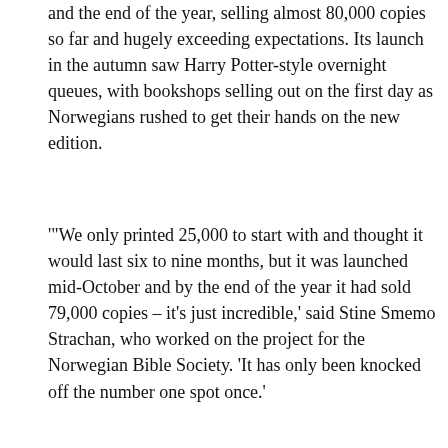and the end of the year, selling almost 80,000 copies so far and hugely exceeding expectations. Its launch in the autumn saw Harry Potter-style overnight queues, with bookshops selling out on the first day as Norwegians rushed to get their hands on the new edition.
'"We only printed 25,000 to start with and thought it would last six to nine months, but it was launched mid-October and by the end of the year it had sold 79,000 copies – it's just incredible,' said Stine Smemo Strachan, who worked on the project for the Norwegian Bible Society. 'It has only been knocked off the number one spot once.'
"A 'literary' version with no chapters or verse divisions which 'reads like a novel', has also been published and has 'sold incredibly well', said the publisher."
The sales figures have to be seen in relation to the size of Norway's population, which totals less than five million.
"According to official data, 80% of Norway's